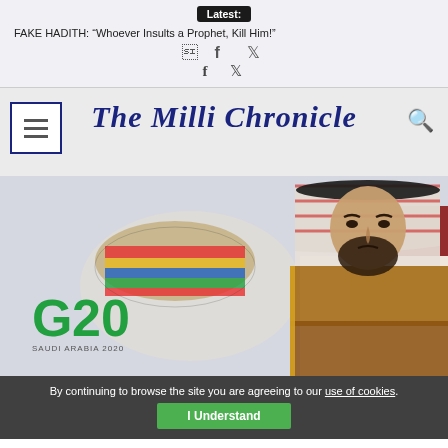Latest:
FAKE HADITH: “Whoever Insults a Prophet, Kill Him!”
The Milli Chronicle
[Figure (photo): Photo of a man in traditional Saudi dress (thobe and ghutrah) seated at what appears to be a G20 summit, with G20 branding visible in the background.]
By continuing to browse the site you are agreeing to our use of cookies.
I Understand